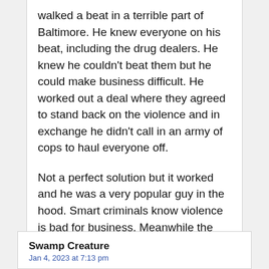walked a beat in a terrible part of Baltimore. He knew everyone on his beat, including the drug dealers. He knew he couldn't beat them but he could make business difficult. He worked out a deal where they agreed to stand back on the violence and in exchange he didn't call in an army of cops to haul everyone off.

Not a perfect solution but it worked and he was a very popular guy in the hood. Smart criminals know violence is bad for business. Meanwhile the residents along his beat enjoyed peace and quiet.
Swamp Creature
Jan 4, 2023 at 7:13 pm